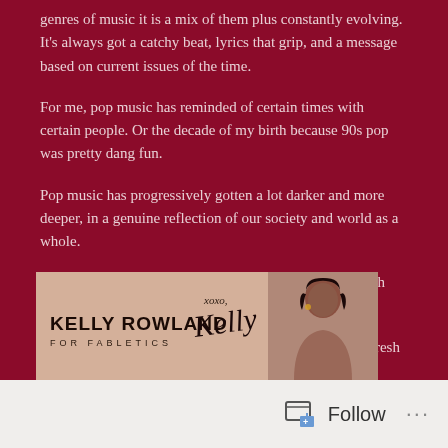genres of music it is a mix of them plus constantly evolving. It's always got a catchy beat, lyrics that grip, and a message based on current issues of the time.
For me, pop music has reminded of certain times with certain people. Or the decade of my birth because 90s pop was pretty dang fun.
Pop music has progressively gotten a lot darker and more deeper, in a genuine reflection of our society and world as a whole.
Yet, it is filled with so many songs that carry you through when nothing else seems to.
Here is a playlist for anyone looking to add something fresh and inviting.
[Figure (photo): Kelly Rowland for Fabletics advertisement banner with signature and photo of Kelly Rowland]
Follow ...